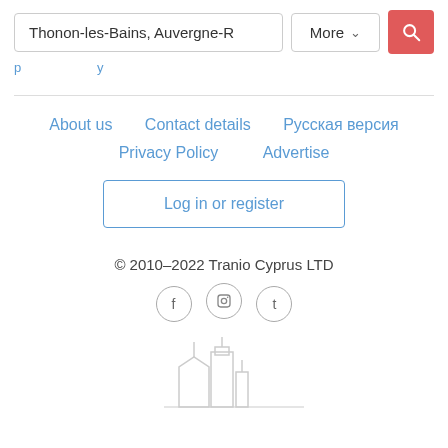[Figure (screenshot): Search bar with text 'Thonon-les-Bains, Auvergne-R', a 'More' dropdown button with chevron, and a red search button with magnifying glass icon]
About us   Contact details   Русская версия   Privacy Policy   Advertise
Log in or register
© 2010–2022 Tranio Cyprus LTD
[Figure (illustration): Outline illustration of city buildings/skyline in light gray]